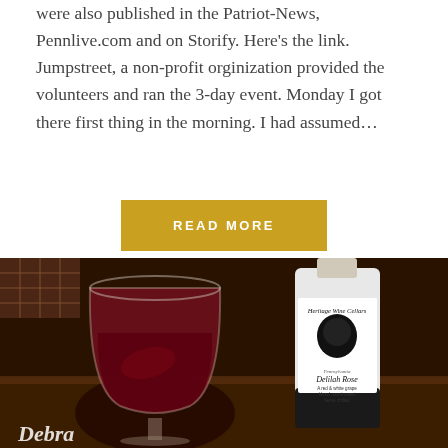were also published in the Patriot-News, Pennlive.com and on Storify. Here's the link. Jumpstreet, a non-profit orginization provided the volunteers and ran the 3-day event. Monday I got there first thing in the morning. I had assumed…
READ MORE
[Figure (photo): Photo of a glass of red wine next to a bottle of Heritage Wine Cellars 'Delilah Rose' Pennsylvania red & white grape blend, semi-sweet wine. The label shows an illustration of a woman's face. Text at bottom reads 'Debra'.]